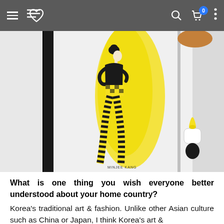Navigation bar with hamburger menu, logo, search, cart (0), and more options
[Figure (illustration): A fashion illustration on a sketchbook page showing a stylized woman figure wearing a black and yellow checkered outfit with a yellow watercolor wash background. Next to the sketchbook is a yellow marker tip with white cap and black body. Signed 'MINJEE KANG' at the bottom of the illustration.]
What is one thing you wish everyone better understood about your home country?
Korea's traditional art & fashion. Unlike other Asian culture such as China or Japan, I think Korea's art &